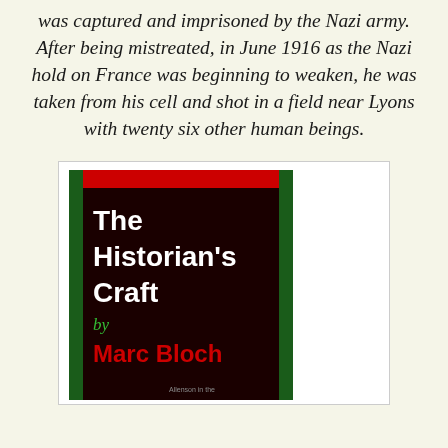was captured and imprisoned by the Nazi army. After being mistreated, in June 1916 as the Nazi hold on France was beginning to weaken, he was taken from his cell and shot in a field near Lyons with twenty six other human beings.
[Figure (illustration): Book cover of 'The Historian's Craft' by Marc Bloch. Dark maroon/black background with green side borders and a red bar at the top. Title in white bold text, author name in red bold text, 'by' in green italic text.]